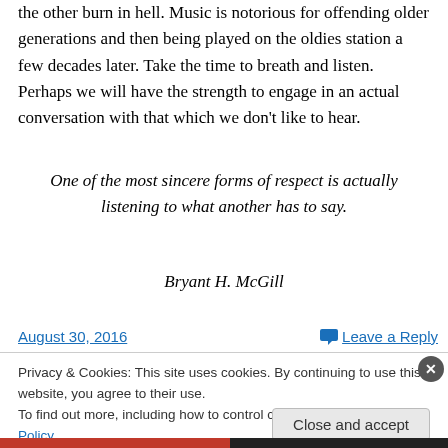the other burn in hell. Music is notorious for offending older generations and then being played on the oldies station a few decades later. Take the time to breath and listen. Perhaps we will have the strength to engage in an actual conversation with that which we don't like to hear.
One of the most sincere forms of respect is actually listening to what another has to say.

Bryant H. McGill
August 30, 2016
Leave a Reply
Privacy & Cookies: This site uses cookies. By continuing to use this website, you agree to their use.
To find out more, including how to control cookies, see here: Cookie Policy
Close and accept